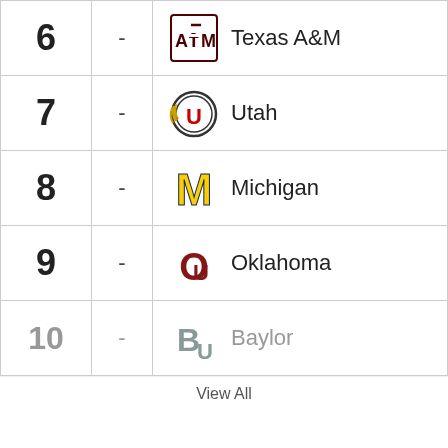| Rank | Change | Team |
| --- | --- | --- |
| 6 | - | Texas A&M |
| 7 | - | Utah |
| 8 | - | Michigan |
| 9 | - | Oklahoma |
| 10 | - | Baylor |
View All
We use cookies to personalize content and ads, to provide social media features and to analyze our traffic. We also share information about your use of our site with our social media, advertising and analytics partners. Privacy Policy
Cookies Settings
Accept All Cookies